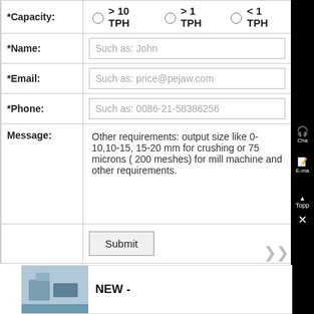| Field | Input |
| --- | --- |
| *Capacity: | > 10 TPH  > 1 TPH  < 1 TPH |
| *Name: | Such as: John |
| *Email: | Such as: price@pejaw.com |
| *Phone: | Such as: 0086-21-58386256 |
| Message: | Other requirements: output size like 0-10,10-15, 15-20 mm for crushing or 75 microns ( 200 meshes) for mill machine and other requirements. |
|  | Submit |
Popular Searches